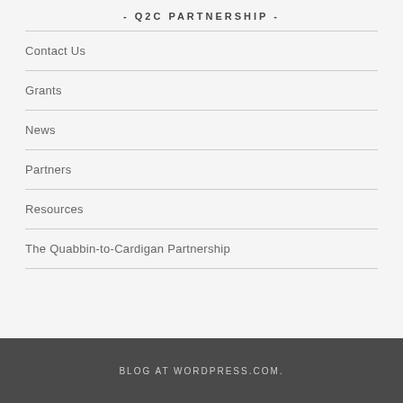- Q2C PARTNERSHIP -
Contact Us
Grants
News
Partners
Resources
The Quabbin-to-Cardigan Partnership
BLOG AT WORDPRESS.COM.